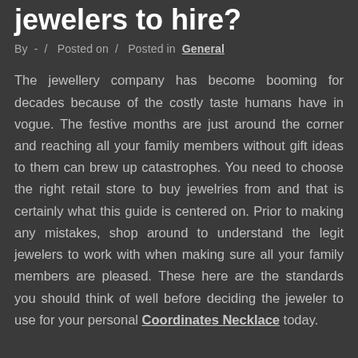jewelers to hire?
By - / Posted on / Posted in General
The jewellery company has become booming for decades because of the costly taste humans have in vogue. The festive months are just around the corner and reaching all your family members without gift ideas to them can brew up catastrophes. You need to choose the right retail store to buy jewelries from and that is certainly what this guide is centered on. Prior to making any mistakes, shop around to understand the legit jewelers to work with when making sure all your family members are pleased. These here are the standards you should think of well before deciding the jeweler to use for your personal Coordinates Necklace today.